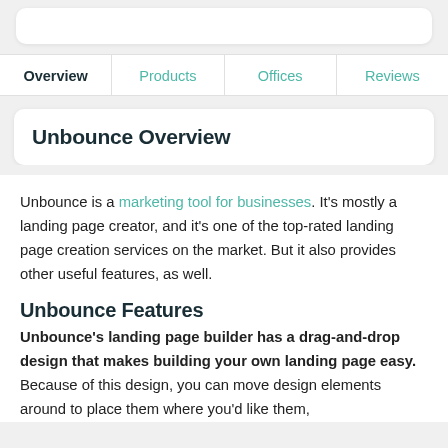Overview | Products | Offices | Reviews
Unbounce Overview
Unbounce is a marketing tool for businesses. It's mostly a landing page creator, and it's one of the top-rated landing page creation services on the market. But it also provides other useful features, as well.
Unbounce Features
Unbounce's landing page builder has a drag-and-drop design that makes building your own landing page easy. Because of this design, you can move design elements around to place them where you'd like them,